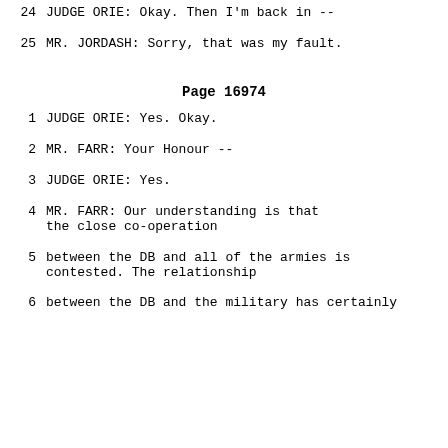24    JUDGE ORIE:  Okay.  Then I'm back in --
25    MR. JORDASH:  Sorry, that was my fault.
Page 16974
1    JUDGE ORIE:  Yes.  Okay.
2    MR. FARR:  Your Honour --
3    JUDGE ORIE:  Yes.
4    MR. FARR:  Our understanding is that the close co-operation
5    between the DB and all of the armies is contested.  The relationship
6    between the DB and the military has certainly